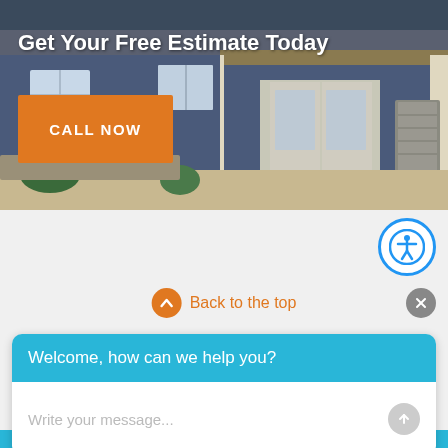[Figure (photo): Photo of a house exterior with blue siding, white trim, stone columns, and covered porch area. Used as hero background image for a home services website.]
Get Your Free Estimate Today
CALL NOW
[Figure (illustration): Accessibility icon button - blue circle with white human figure with arms and legs spread out]
Back to the top
[Figure (illustration): Gray X close button circle]
Welcome, how can we help you?
Write your message...
Southeastern Wisconsin's first choice in quality for